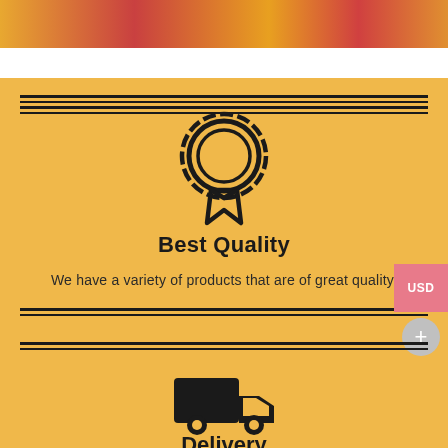[Figure (photo): Colorful product/food image strip at the top of the page]
[Figure (illustration): Award badge / medal icon (circle with ribbon) representing Best Quality]
Best Quality
We have a variety of products that are of great quality.
[Figure (illustration): Delivery truck icon representing Delivery section]
Delivery